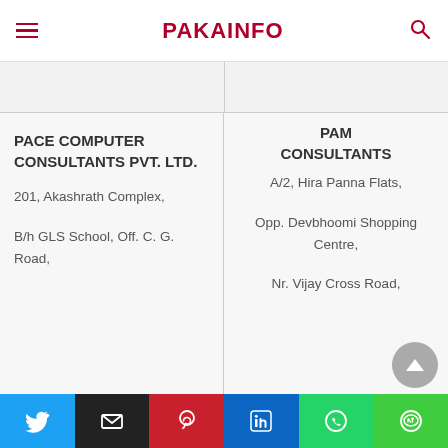PAKAINFO
PACE COMPUTER CONSULTANTS PVT. LTD.
201, Akashrath Complex,
B/h GLS School, Off. C. G. Road,
PAM CONSULTANTS
A/2, Hira Panna Flats,
Opp. Devbhoomi Shopping Centre,
Nr. Vijay Cross Road,